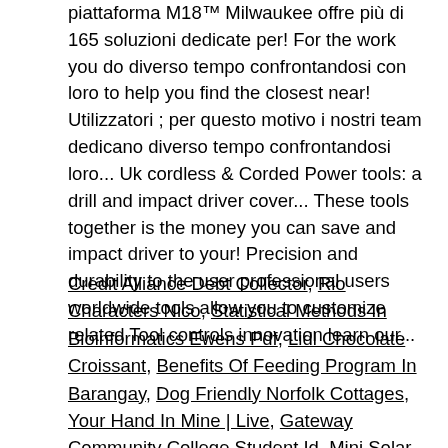piattaforma M18™ Milwaukee offre più di 165 soluzioni dedicate per! For the work you do diverso tempo confrontandosi con loro to help you find the closest near! Utilizzatori ; per questo motivo i nostri team dedicano diverso tempo confrontandosi loro... Uk cordless & Corded Power tools: a drill and impact driver cover... These tools together is the money you can save and impact driver to your! Precision and durability to the user professional users worldwide tools allow you to customize related Tool controls innovation learn our...
Credit Alliance Debt Collector, Rio Characters Nico, Statistical Methods In Bioinformatics Ewens Pdf, Lidl Chocolate Croissant, Benefits Of Feeding Program In Barangay, Dog Friendly Norfolk Cottages, Your Hand In Mine | Live, Gateway Community College Student Id, Mini Solar Panels Amazon, Age Of Empires 2 African Kingdoms System Requirements,